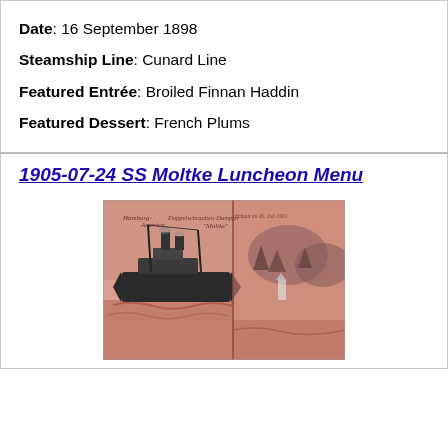Date: 16 September 1898
Steamship Line: Cunard Line
Featured Entrée: Broiled Finnan Haddin
Featured Dessert: French Plums
1905-07-24 SS Moltke Luncheon Menu
[Figure (illustration): Vintage sepia-toned illustration of the Hamburg America Line double-screw steamship SS Moltke at sea, with a coastal landscape scene on the right side. Text on image reads 'Hamburg-America Doppelschrauben-Dampfer Moltke'.]